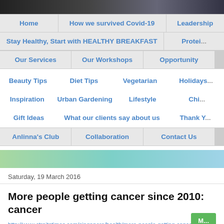[Figure (photo): Top banner image with dark purple/blue tones, partial website header photo]
Home | How we survived Covid-19 | Leadership
Stay Healthy, Start with HEALTHY BREAKFAST | Protei...
Our Services | Our Workshops | Opportunity
Beauty Tips | Diet Tips | Vegetarian | Holidays
Inspiration | Urban Gardening | Lifestyle | Chi...
Gift Ideas | What our clients say about us | Thank Y...
Anlinna's Club | Collaboration | Contact Us
Saturday, 19 March 2016
More people getting cancer since 2010: cancer
http://www.straitstimes.com/singapore/health/more-people-getting-cance...
M...